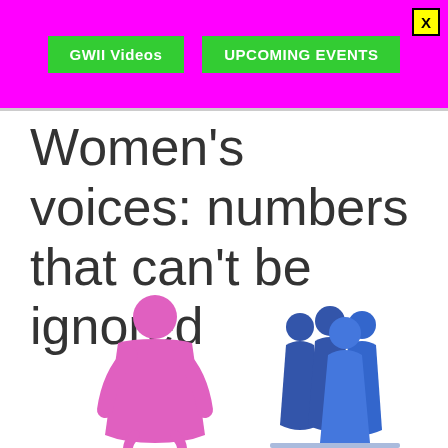GWII Videos | UPCOMING EVENTS
Women's voices: numbers that can't be ignored
[Figure (illustration): Pink female figure icon on the left and a group of blue male figure icons on the right, representing gender statistics]